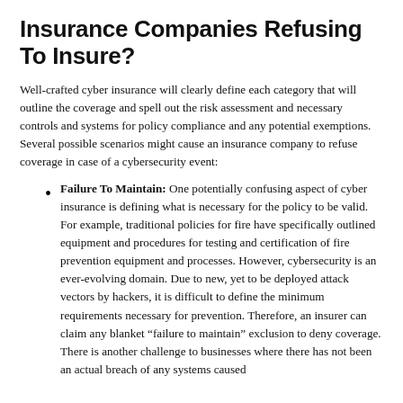Insurance Companies Refusing To Insure?
Well-crafted cyber insurance will clearly define each category that will outline the coverage and spell out the risk assessment and necessary controls and systems for policy compliance and any potential exemptions. Several possible scenarios might cause an insurance company to refuse coverage in case of a cybersecurity event:
Failure To Maintain: One potentially confusing aspect of cyber insurance is defining what is necessary for the policy to be valid. For example, traditional policies for fire have specifically outlined equipment and procedures for testing and certification of fire prevention equipment and processes. However, cybersecurity is an ever-evolving domain. Due to new, yet to be deployed attack vectors by hackers, it is difficult to define the minimum requirements necessary for prevention. Therefore, an insurer can claim any blanket “failure to maintain” exclusion to deny coverage. There is another challenge to businesses where there has not been an actual breach of any systems caused